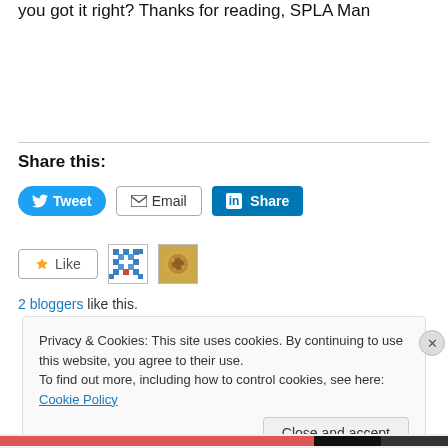you got it right? Thanks for reading, SPLA Man
Share this:
[Figure (screenshot): Social share buttons: Tweet (Twitter/blue), Email (gray border), Share (LinkedIn/blue)]
[Figure (screenshot): Like button with star icon, and two blogger avatars]
2 bloggers like this.
Privacy & Cookies: This site uses cookies. By continuing to use this website, you agree to their use.
To find out more, including how to control cookies, see here: Cookie Policy
Close and accept